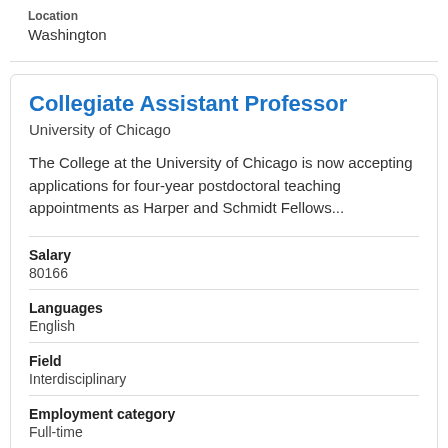Location
Washington
Collegiate Assistant Professor
University of Chicago
The College at the University of Chicago is now accepting applications for four-year postdoctoral teaching appointments as Harper and Schmidt Fellows...
Salary
80166
Languages
English
Field
Interdisciplinary
Employment category
Full-time